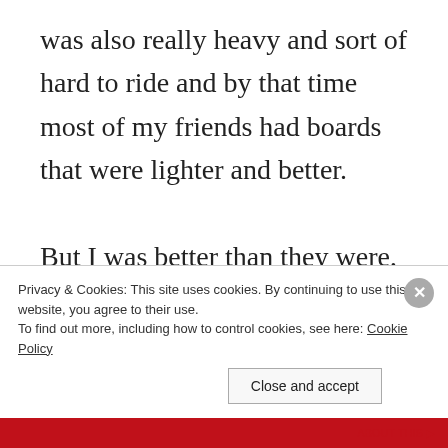was also really heavy and sort of hard to ride and by that time most of my friends had boards that were lighter and better.

But I was better than they were, even with their fancy boards. You want to know why? I didn't care about the type of skateboard I was using, I just wanted to
Privacy & Cookies: This site uses cookies. By continuing to use this website, you agree to their use.
To find out more, including how to control cookies, see here: Cookie Policy
Close and accept